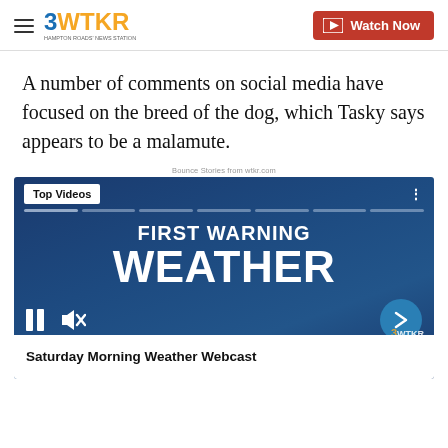3WTKR | Watch Now
A number of comments on social media have focused on the breed of the dog, which Tasky says appears to be a malamute.
Bounce Stories from wtkr.com
[Figure (screenshot): Video player showing 'FIRST WARNING WEATHER' with Top Videos badge, progress bar, pause/mute controls, next arrow button, and caption bar reading 'Saturday Morning Weather Webcast']